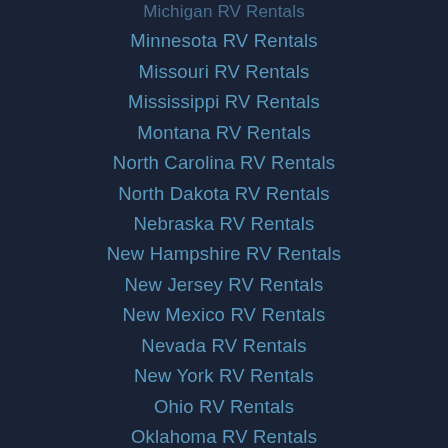Michigan RV Rentals
Minnesota RV Rentals
Missouri RV Rentals
Mississippi RV Rentals
Montana RV Rentals
North Carolina RV Rentals
North Dakota RV Rentals
Nebraska RV Rentals
New Hampshire RV Rentals
New Jersey RV Rentals
New Mexico RV Rentals
Nevada RV Rentals
New York RV Rentals
Ohio RV Rentals
Oklahoma RV Rentals
Oregon RV Rentals
Pennsylvania RV Rentals
Rhode Island RV Rentals
South Carolina RV Rentals
South Dakota RV Rentals
Tennessee RV Rentals
Texas RV Rentals